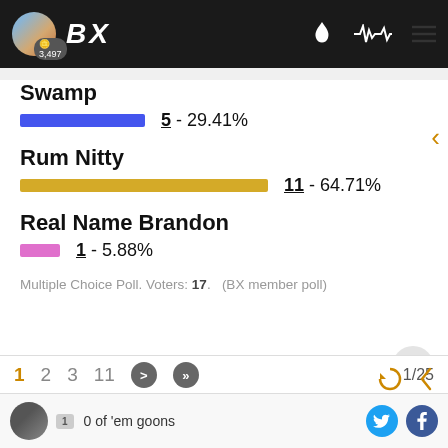BX  3,497
Swamp
[Figure (bar-chart): Poll results]
Multiple Choice Poll. Voters: 17.   (BX member poll)
1  2  3  11  >  >>   1/25